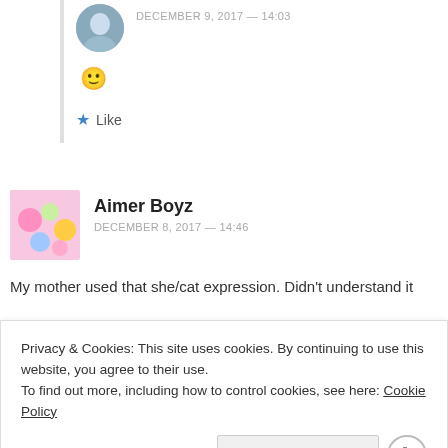DECEMBER 9, 2017 — 14:03
[Figure (illustration): Yellow smiley face emoji]
★ Like
Aimer Boyz
DECEMBER 8, 2017 — 14:46
My mother used that she/cat expression. Didn't understand it
Privacy & Cookies: This site uses cookies. By continuing to use this website, you agree to their use.
To find out more, including how to control cookies, see here: Cookie Policy
Close and accept
[Figure (photo): WordPress.com advertisement: Simplified pricing for everything you need.]